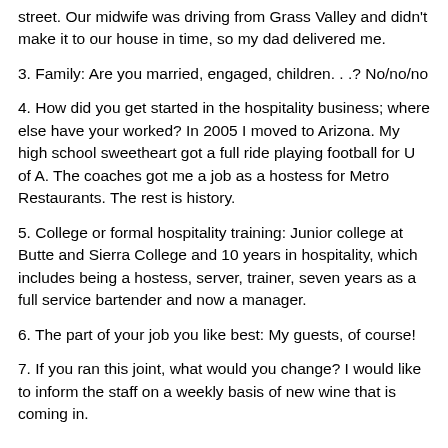street.  Our midwife was driving from Grass Valley and didn't make it to our house in time, so my dad delivered me.
3.  Family: Are you married, engaged, children. . .?  No/no/no
4.  How did you get started in the hospitality business; where else have your worked?  In 2005 I moved to Arizona.  My high school sweetheart got a full ride playing football for U of A.  The coaches got me a job as a hostess for Metro Restaurants. The rest is history.
5.  College or formal hospitality training:  Junior college at Butte and Sierra College and 10 years in hospitality, which includes being a hostess, server, trainer, seven years as a full service bartender and now a manager.
6.  The part of your job you like best:  My guests, of course!
7.  If you ran this joint, what would you change?  I would like to inform the staff on a weekly basis of new wine that is coming in.